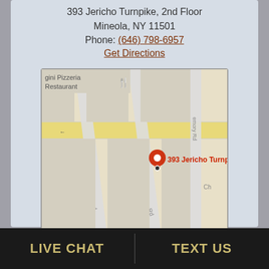393 Jericho Turnpike, 2nd Floor
Mineola, NY 11501
Phone: (646) 798-6957
Get Directions
[Figure (map): Google Maps screenshot showing 393 Jericho Turnpike, Mineola NY. Shows streets including Latham Rd, Write Rd, and partial view of nearby Pizzeria Restaurant. Red location pin marks 393 Jericho Turnpike.]
LIVE CHAT
TEXT US